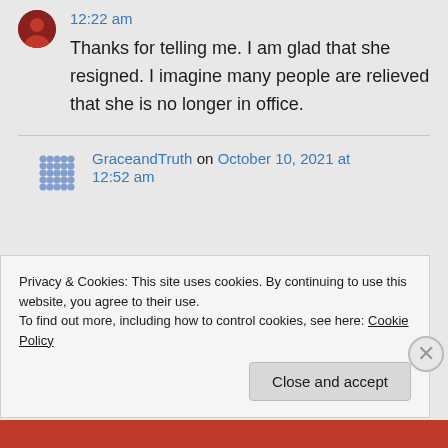12:22 am
Thanks for telling me. I am glad that she resigned. I imagine many people are relieved that she is no longer in office.
GraceandTruth on October 10, 2021 at 12:52 am
Privacy & Cookies: This site uses cookies. By continuing to use this website, you agree to their use.
To find out more, including how to control cookies, see here: Cookie Policy
Close and accept